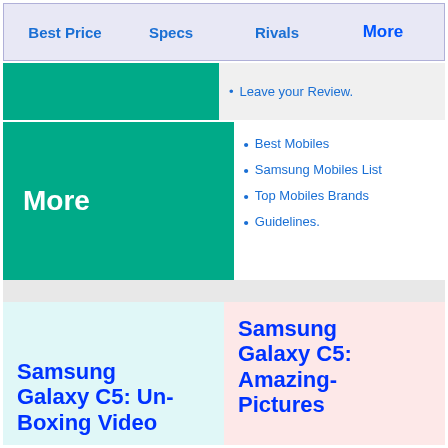Best Price  Specs  Rivals  More
Leave your Review.
More
Best Mobiles
Samsung Mobiles List
Top Mobiles Brands
Guidelines.
Samsung Galaxy C5: Un-Boxing Video
Samsung Galaxy C5: Amazing-Pictures